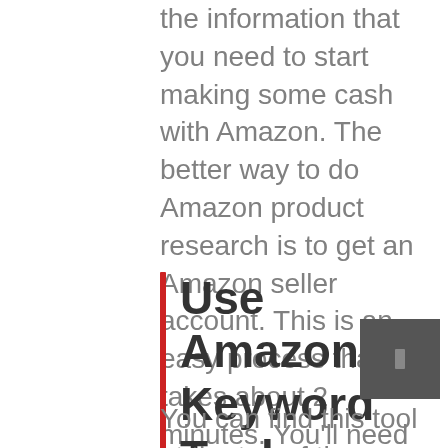the information that you need to start making some cash with Amazon. The better way to do Amazon product research is to get an Amazon seller account. This is an easy process that takes about 2 minutes. You'll need to fill out some information and then you'll be ready to start promoting and selling on Amazon. Just make sure that you choose a good selling method and that you take the time to learn it. If you want to be a successful Amazon seller, then you need to learn and master Amazon selling.
Use Amazon's Keyword Tool
You can find this tool at the top of the Amazon product page. When you put in